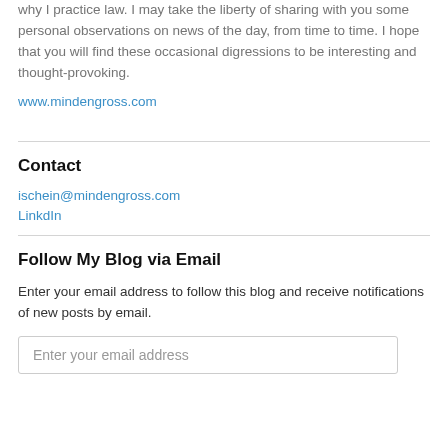why I practice law. I may take the liberty of sharing with you some personal observations on news of the day, from time to time. I hope that you will find these occasional digressions to be interesting and thought-provoking.
www.mindengross.com
Contact
ischein@mindengross.com
LinkdIn
Follow My Blog via Email
Enter your email address to follow this blog and receive notifications of new posts by email.
Enter your email address